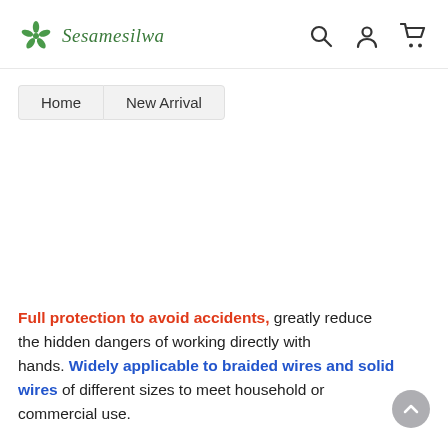Sesamesilwa — navigation header with search, account, and cart icons
Home   New Arrival
Full protection to avoid accidents, greatly reduce the hidden dangers of working directly with hands. Widely applicable to braided wires and solid wires of different sizes to meet household or commercial use.